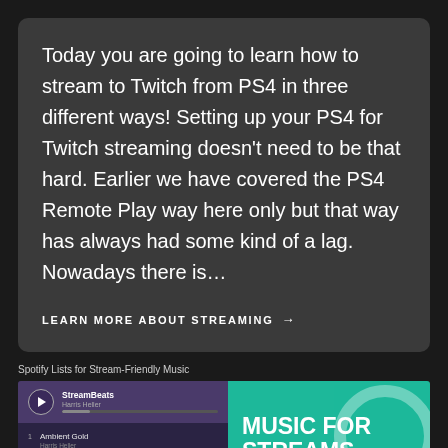Today you are going to learn how to stream to Twitch from PS4 in three different ways! Setting up your PS4 for Twitch streaming doesn't need to be that hard. Earlier we have covered the PS4 Remote Play way here only but that way has always had some kind of a lag. Nowadays there is…
LEARN MORE ABOUT STREAMING →
Spotify Lists for Stream-Friendly Music
[Figure (screenshot): Spotify playlist panel showing StreamBeats by Harris Heller with tracks: 1. Ambient Gold, 2. Casting Rain Drops, 3. Deja Vu, 4. Mood Swings, 5. White Noise. Alongside a teal/green banner reading MUSIC FOR STREAMS ROYALTY...]